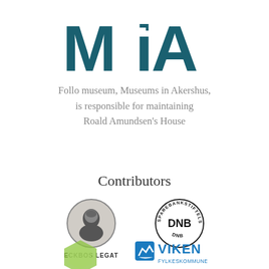[Figure (logo): MiA logo in teal/dark cyan color, large bold letters]
Follo museum, Museums in Akershus, is responsible for maintaining Roald Amundsen's House
Contributors
[Figure (logo): Eckbos Legat logo: circular portrait photo with text ECKBOS LEGAT below]
[Figure (logo): Sparebankstiftelsen DNB circular logo with text around the circle]
[Figure (logo): Green hexagonal logo (partial at bottom)]
[Figure (logo): Viken Fylkeskommune logo in blue (partial at bottom)]